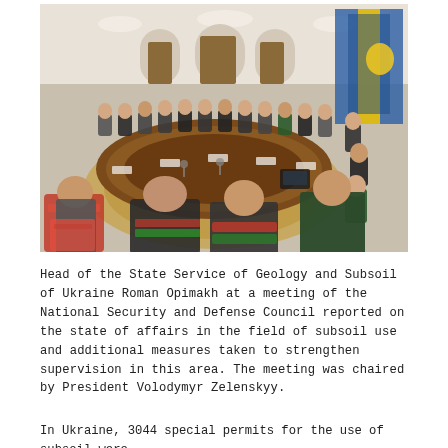[Figure (photo): High-level government meeting at a large oval conference table in an ornate formal hall. Officials in suits and masks are seated around the table, with a Ukrainian flag and decorative tapestry visible in the background. Documents and folders are visible on the table.]
Head of the State Service of Geology and Subsoil of Ukraine Roman Opimakh at a meeting of the National Security and Defense Council reported on the state of affairs in the field of subsoil use and additional measures taken to strengthen supervision in this area. The meeting was chaired by President Volodymyr Zelenskyy.
In Ukraine, 3044 special permits for the use of subsoil were